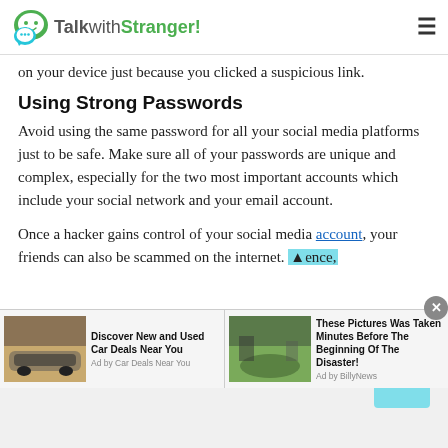TalkwithStranger!
on your device just because you clicked a suspicious link.
Using Strong Passwords
Avoid using the same password for all your social media platforms just to be safe. Make sure all of your passwords are unique and complex, especially for the two most important accounts which include your social network and your email account.
Once a hacker gains control of your social media account, your friends can also be scammed on the internet. Hence,
[Figure (screenshot): Advertisement bar with two ads: 'Discover New and Used Car Deals Near You' (Ad by Car Deals Near You) and 'These Pictures Was Taken Minutes Before The Beginning Of The Disaster!' (Ad by BillyNews). A close button (x) is visible top-right of the ad bar.]